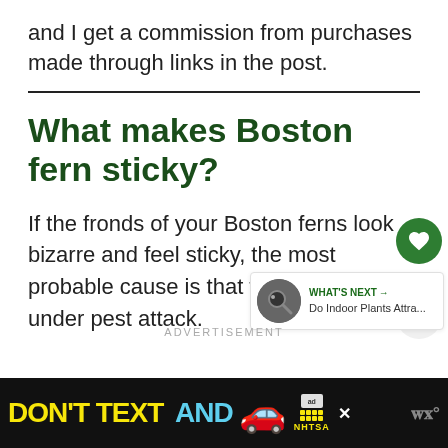and I get a commission from purchases made through links in the post.
What makes Boston fern sticky?
If the fronds of your Boston ferns look bizarre and feel sticky, the most probable cause is that the fern is under pest attack.
ADVERTISEMENT
[Figure (screenshot): WHAT'S NEXT arrow widget showing: Do Indoor Plants Attra...]
[Figure (infographic): Ad banner: DON'T TEXT AND [car emoji] ad badge NHTSA logo close button W° logo]